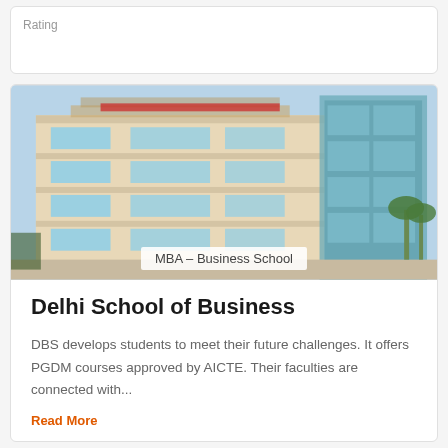Rating
[Figure (photo): Multi-story business school building with glass and beige facade, palm trees visible. Overlay label reads: MBA – Business School]
MBA – Business School
Delhi School of Business
DBS develops students to meet their future challenges. It offers PGDM courses approved by AICTE. Their faculties are connected with...
Read More